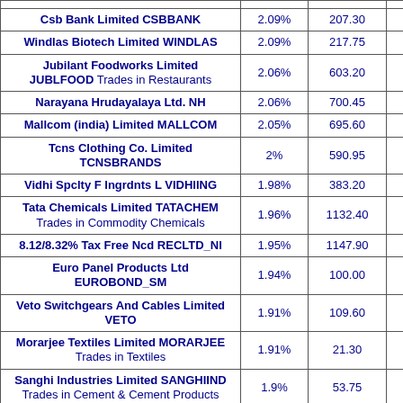| Company | % | Price |  |
| --- | --- | --- | --- |
| Csb Bank Limited CSBBANK | 2.09% | 207.30 | 2... |
| Windlas Biotech Limited WINDLAS | 2.09% | 217.75 | 2... |
| Jubilant Foodworks Limited JUBLFOOD Trades in Restaurants | 2.06% | 603.20 | 5... |
| Narayana Hrudayalaya Ltd. NH | 2.06% | 700.45 | 6... |
| Mallcom (india) Limited MALLCOM | 2.05% | 695.60 | 6... |
| Tcns Clothing Co. Limited TCNSBRANDS | 2% | 590.95 | 5... |
| Vidhi Spclty F Ingrdnts L VIDHIING | 1.98% | 383.20 | 3... |
| Tata Chemicals Limited TATACHEM Trades in Commodity Chemicals | 1.96% | 1132.40 | 1... |
| 8.12/8.32% Tax Free Ncd RECLTD_NI | 1.95% | 1147.90 | 1... |
| Euro Panel Products Ltd EUROBOND_SM | 1.94% | 100.00 |  |
| Veto Switchgears And Cables Limited VETO | 1.91% | 109.60 | 1... |
| Morarjee Textiles Limited MORARJEE Trades in Textiles | 1.91% | 21.30 |  |
| Sanghi Industries Limited SANGHIIND Trades in Cement & Cement Products | 1.9% | 53.75 |  |